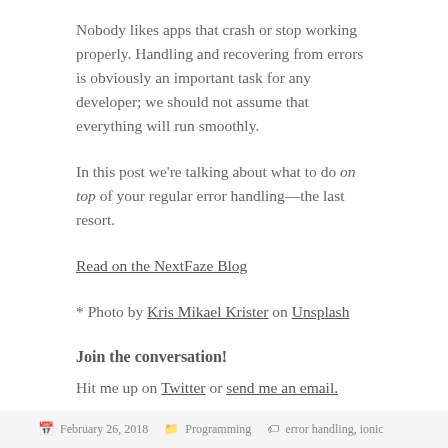Nobody likes apps that crash or stop working properly. Handling and recovering from errors is obviously an important task for any developer; we should not assume that everything will run smoothly.
In this post we're talking about what to do on top of your regular error handling—the last resort.
Read on the NextFaze Blog
* Photo by Kris Mikael Krister on Unsplash
Join the conversation!
Hit me up on Twitter or send me an email.
February 26, 2018  Programming  error handling, ionic